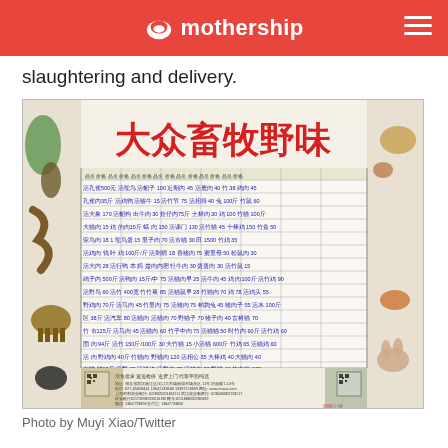mothership
slaughtering and delivery.
[Figure (photo): A Chinese market price list poster titled 大众畜牧野味 (Popular Livestock Wild Game) showing various animals and their prices in a handwritten table format, surrounded by illustrations of animals including peacock, ostrich, cattle, sheep, rabbit, fox, and others. The poster includes QR codes and contact information at the bottom.]
Photo by Muyi Xiao/Twitter